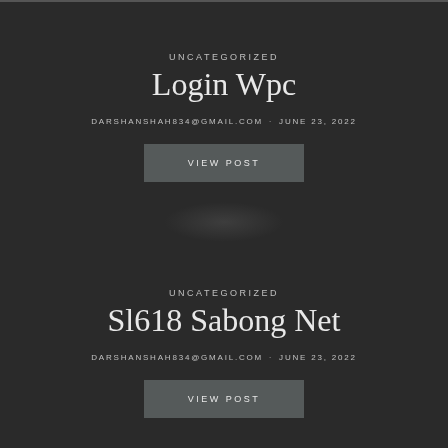UNCATEGORIZED
Login Wpc
DARSHANSHAH834@GMAIL.COM · JUNE 23, 2022
VIEW POST
UNCATEGORIZED
Sl618 Sabong Net
DARSHANSHAH834@GMAIL.COM · JUNE 23, 2022
VIEW POST